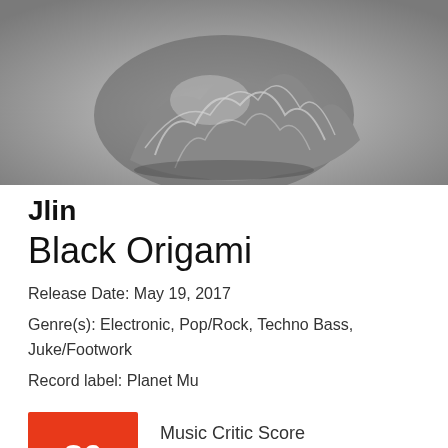[Figure (photo): Black and white photograph of a crumpled metallic foil sculpture against a grey gradient background — album artwork for Jlin's Black Origami]
Jlin
Black Origami
Release Date: May 19, 2017
Genre(s): Electronic, Pop/Rock, Techno Bass, Juke/Footwork
Record label: Planet Mu
Music Critic Score
How the Music Critic Score works